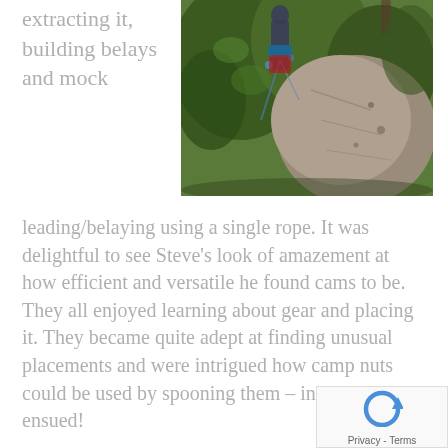extracting it, building belays and mock
[Figure (photo): Rock climber on a large boulder surrounded by trees, with climbing gear visible]
leading/belaying using a single rope. It was delightful to see Steve's look of amazement at how efficient and versatile he found cams to be. They all enjoyed learning about gear and placing it. They became quite adept at finding unusual placements and were intrigued how camp nuts could be used by spooning them – innuendos ensued!
Everyone had the opportunity to lead and did so with Ali on an ab rope next to them encouraging and supporting their ascent.